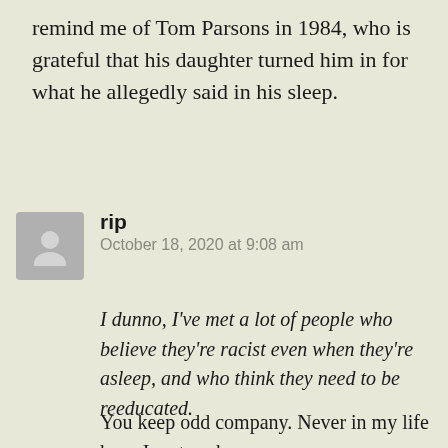remind me of Tom Parsons in 1984, who is grateful that his daughter turned him in for what he allegedly said in his sleep.
rip
October 18, 2020 at 9:08 am
I dunno, I've met a lot of people who believe they're racist even when they're asleep, and who think they need to be reeducated.
You keep odd company. Never in my life have I met such a person.